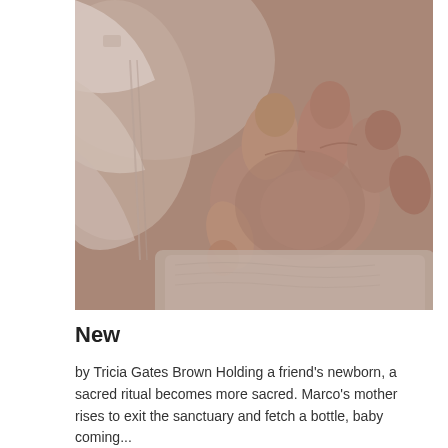[Figure (photo): Close-up sepia/black-and-white photograph of a newborn baby's hand resting on what appears to be a soft blanket or towel, with white clothing visible in the background.]
New
by Tricia Gates Brown Holding a friend's newborn, a sacred ritual becomes more sacred. Marco's mother rises to exit the sanctuary and fetch a bottle, baby coming...